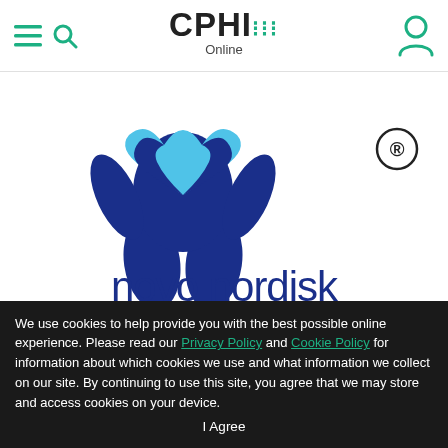CPHI Online (navigation bar with menu, search, and user icons)
[Figure (logo): Novo Nordisk logo: blue figure with heart shape above text 'novo nordisk' with registered trademark symbol]
NEWS Novo Nordisk invests DKK 400 million in an expanded production plant in Kalundborg
New facilities will provide greater flexibility.
We use cookies to help provide you with the best possible online experience. Please read our Privacy Policy and Cookie Policy for information about which cookies we use and what information we collect on our site. By continuing to use this site, you agree that we may store and access cookies on your device. I Agree